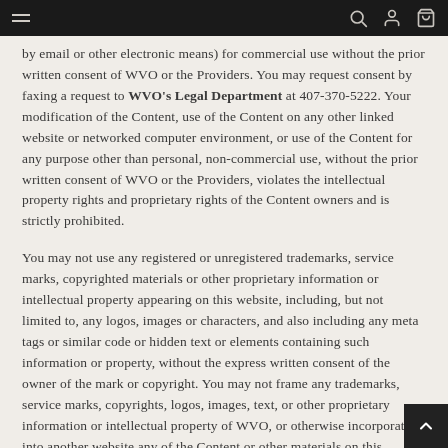Navigation bar with hamburger menu, search, account, and cart icons
by email or other electronic means) for commercial use without the prior written consent of WVO or the Providers. You may request consent by faxing a request to WVO's Legal Department at 407-370-5222. Your modification of the Content, use of the Content on any other linked website or networked computer environment, or use of the Content for any purpose other than personal, non-commercial use, without the prior written consent of WVO or the Providers, violates the intellectual property rights and proprietary rights of the Content owners and is strictly prohibited.
You may not use any registered or unregistered trademarks, service marks, copyrighted materials or other proprietary information or intellectual property appearing on this website, including, but not limited to, any logos, images or characters, and also including any meta tags or similar code or hidden text or elements containing such information or property, without the express written consent of the owner of the mark or copyright. You may not frame any trademarks, service marks, copyrights, logos, images, text, or other proprietary information or intellectual property of WVO, or otherwise incorporate into another website any of the Content or other materials on this website, with WVO's express prior written consent. You may not deep link to any